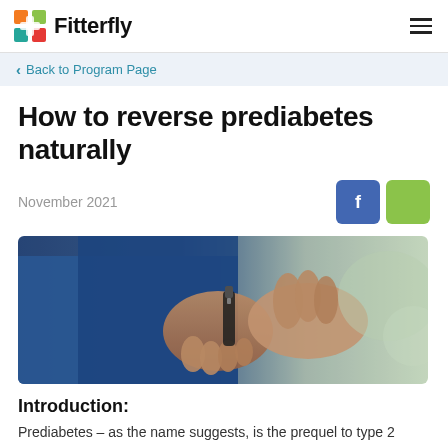Fitterfly
Back to Program Page
How to reverse prediabetes naturally
November 2021
[Figure (photo): Person in blue shirt using a blood glucose meter / lancet device on their finger]
Introduction:
Prediabetes – as the name suggests, is the prequel to type 2